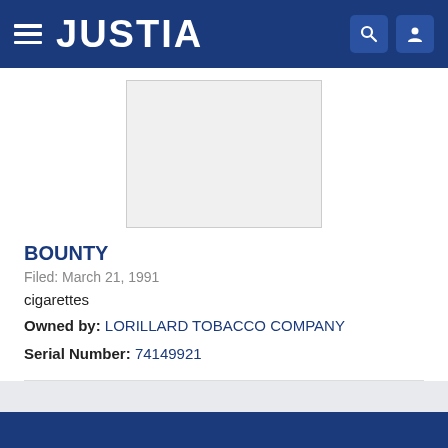JUSTIA
[Figure (other): Trademark image placeholder — gray rectangle with border]
BOUNTY
Filed: March 21, 1991
cigarettes
Owned by: LORILLARD TOBACCO COMPANY
Serial Number: 74149921
1  2  NEXT